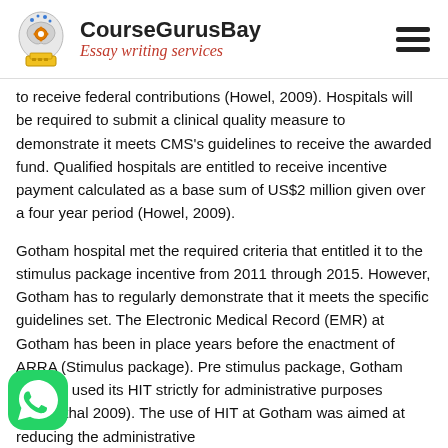CourseGurusBay — Essay writing services
to receive federal contributions (Howel, 2009). Hospitals will be required to submit a clinical quality measure to demonstrate it meets CMS's guidelines to receive the awarded fund. Qualified hospitals are entitled to receive incentive payment calculated as a base sum of US$2 million given over a four year period (Howel, 2009).
Gotham hospital met the required criteria that entitled it to the stimulus package incentive from 2011 through 2015. However, Gotham has to regularly demonstrate that it meets the specific guidelines set. The Electronic Medical Record (EMR) at Gotham has been in place years before the enactment of ARRA (Stimulus package). Pre stimulus package, Gotham hospital used its HIT strictly for administrative purposes (Rosenthal 2009). The use of HIT at Gotham was aimed at reducing the administrative